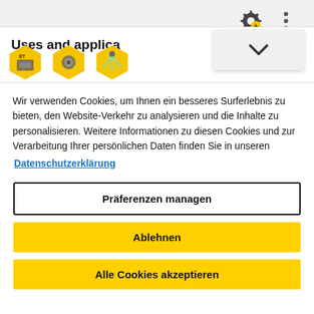[Figure (screenshot): Toolbar icons: gear with plus icon and vertical three-dot menu icon on grey background]
[Figure (screenshot): Dropdown panel with chevron down arrow on light grey background]
Uses and applica
[Figure (illustration): Three yellow hexagon badges with industrial tool icons]
Wir verwenden Cookies, um Ihnen ein besseres Surferlebnis zu bieten, den Website-Verkehr zu analysieren und die Inhalte zu personalisieren. Weitere Informationen zu diesen Cookies und zur Verarbeitung Ihrer persönlichen Daten finden Sie in unseren
Datenschutzerklärung
Präferenzen managen
Ablehnen
Alle Cookies akzeptieren